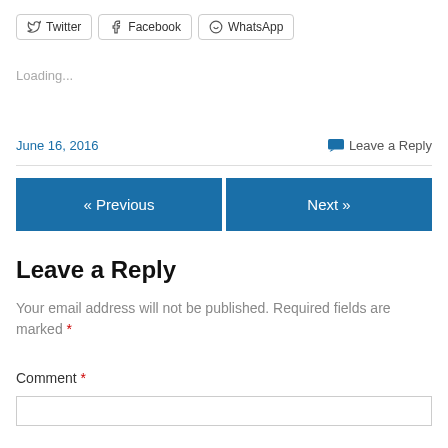Twitter  Facebook  WhatsApp
Loading...
June 16, 2016
Leave a Reply
« Previous
Next »
Leave a Reply
Your email address will not be published. Required fields are marked *
Comment *